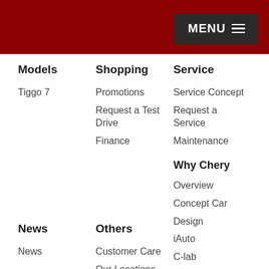[Figure (screenshot): Dark red navigation header bar with MENU button in dark grey on the right]
Models
Tiggo 7
Shopping
Promotions
Request a Test Drive
Finance
Service
Service Concept
Request a Service
Maintenance
Why Chery
Overview
Concept Car
Design
iAuto
C-lab
History
Achievements
News
News
Others
Customer Care
Our Locations